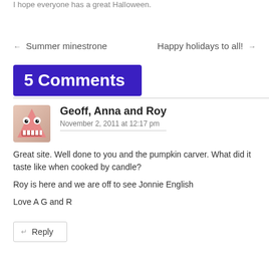I hope everyone has a great Halloween.
← Summer minestrone     Happy holidays to all! →
5 Comments
Geoff, Anna and Roy
November 2, 2011 at 12:17 pm
Great site. Well done to you and the pumpkin carver. What did it taste like when cooked by candle?
Roy is here and we are off to see Jonnie English
Love A G and R
↵ Reply